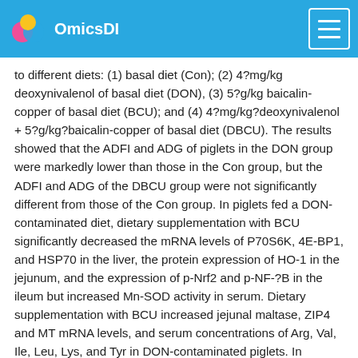OmicsDI
to different diets: (1) basal diet (Con); (2) 4?mg/kg deoxynivalenol of basal diet (DON), (3) 5?g/kg baicalin-copper of basal diet (BCU); and (4) 4?mg/kg?deoxynivalenol + 5?g/kg?baicalin-copper of basal diet (DBCU). The results showed that the ADFI and ADG of piglets in the DON group were markedly lower than those in the Con group, but the ADFI and ADG of the DBCU group were not significantly different from those of the Con group. In piglets fed a DON-contaminated diet, dietary supplementation with BCU significantly decreased the mRNA levels of P70S6K, 4E-BP1, and HSP70 in the liver, the protein expression of HO-1 in the jejunum, and the expression of p-Nrf2 and p-NF-?B in the ileum but increased Mn-SOD activity in serum. Dietary supplementation with BCU increased jejunal maltase, ZIP4 and MT mRNA levels, and serum concentrations of Arg, Val, Ile, Leu, Lys, and Tyr in DON-contaminated piglets. In summary, BCU can alleviate the growth impairment induced by DON and enhance antioxidant capacity and nutrition absorption in piglets fed DON-contaminated diets.